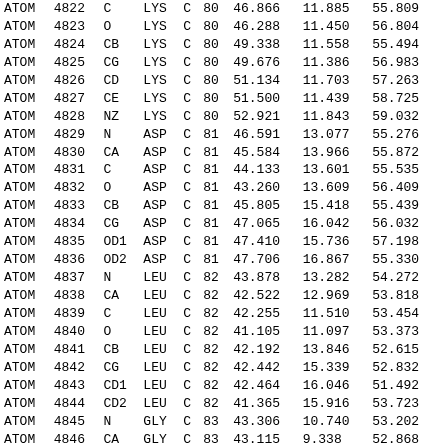| Record | Serial | Name | ResName | Chain | SeqNum | X | Y | Z | ... |
| --- | --- | --- | --- | --- | --- | --- | --- | --- | --- |
| ATOM | 4822 | C | LYS | C | 80 | 46.866 | 11.885 | 55.809 |  |
| ATOM | 4823 | O | LYS | C | 80 | 46.288 | 11.450 | 56.804 |  |
| ATOM | 4824 | CB | LYS | C | 80 | 49.338 | 11.558 | 55.494 |  |
| ATOM | 4825 | CG | LYS | C | 80 | 49.676 | 11.386 | 56.983 |  |
| ATOM | 4826 | CD | LYS | C | 80 | 51.134 | 11.703 | 57.263 |  |
| ATOM | 4827 | CE | LYS | C | 80 | 51.500 | 11.439 | 58.725 |  |
| ATOM | 4828 | NZ | LYS | C | 80 | 52.921 | 11.843 | 59.032 |  |
| ATOM | 4829 | N | ASP | C | 81 | 46.591 | 13.077 | 55.276 |  |
| ATOM | 4830 | CA | ASP | C | 81 | 45.584 | 13.966 | 55.872 |  |
| ATOM | 4831 | C | ASP | C | 81 | 44.133 | 13.601 | 55.535 |  |
| ATOM | 4832 | O | ASP | C | 81 | 43.260 | 13.609 | 56.409 |  |
| ATOM | 4833 | CB | ASP | C | 81 | 45.805 | 15.418 | 55.439 |  |
| ATOM | 4834 | CG | ASP | C | 81 | 47.065 | 16.042 | 56.032 |  |
| ATOM | 4835 | OD1 | ASP | C | 81 | 47.410 | 15.736 | 57.198 |  |
| ATOM | 4836 | OD2 | ASP | C | 81 | 47.706 | 16.867 | 55.330 |  |
| ATOM | 4837 | N | LEU | C | 82 | 43.878 | 13.282 | 54.272 |  |
| ATOM | 4838 | CA | LEU | C | 82 | 42.522 | 12.969 | 53.818 |  |
| ATOM | 4839 | C | LEU | C | 82 | 42.255 | 11.510 | 53.454 |  |
| ATOM | 4840 | O | LEU | C | 82 | 41.105 | 11.097 | 53.373 |  |
| ATOM | 4841 | CB | LEU | C | 82 | 42.192 | 13.846 | 52.615 |  |
| ATOM | 4842 | CG | LEU | C | 82 | 42.442 | 15.339 | 52.832 |  |
| ATOM | 4843 | CD1 | LEU | C | 82 | 42.464 | 16.046 | 51.492 |  |
| ATOM | 4844 | CD2 | LEU | C | 82 | 41.365 | 15.916 | 53.723 |  |
| ATOM | 4845 | N | GLY | C | 83 | 43.306 | 10.740 | 53.202 |  |
| ATOM | 4846 | CA | GLY | C | 83 | 43.115 | 9.338 | 52.868 |  |
| ATOM | 4847 | C | GLY | C | 83 | 42.633 | 9.069 | 51.452 |  |
| ATOM | 4848 | O | GLY | C | 83 | 43.125 | 8.159 | 50.782 |  |
| ATOM | 4849 | N | SER | C | 84 | 41.662 | 9.846 | 50.994 |  |
| ATOM | 4850 | CA | SER | C | 84 | 41.125 | 9.677 | 49.642 |  |
| ATOM | 4851 | C | SER | C | 84 | 40.449 | 10.961 | 49.166 |  |